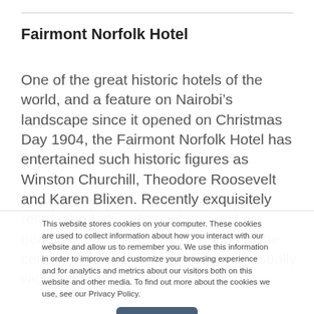Fairmont Norfolk Hotel
One of the great historic hotels of the world, and a feature on Nairobi’s landscape since it opened on Christmas Day 1904, the Fairmont Norfolk Hotel has entertained such historic figures as Winston Churchill, Theodore Roosevelt and Karen Blixen. Recently exquisitely refurbished, this atmospheric and beautifully appointed hotel stands in the centre of town where it offers an unusually wide selection
This website stores cookies on your computer. These cookies are used to collect information about how you interact with our website and allow us to remember you. We use this information in order to improve and customize your browsing experience and for analytics and metrics about our visitors both on this website and other media. To find out more about the cookies we use, see our Privacy Policy.
Accept